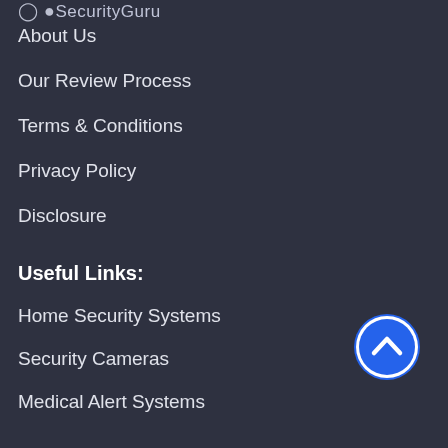SecurityGuru (logo/header, partially visible)
About Us
Our Review Process
Terms & Conditions
Privacy Policy
Disclosure
Useful Links:
Home Security Systems
Security Cameras
Medical Alert Systems
Identity Theft Protection
Smart Devices
ADT Review
[Figure (illustration): Blue circular button with white upward-pointing chevron arrow, used as a scroll-to-top button]